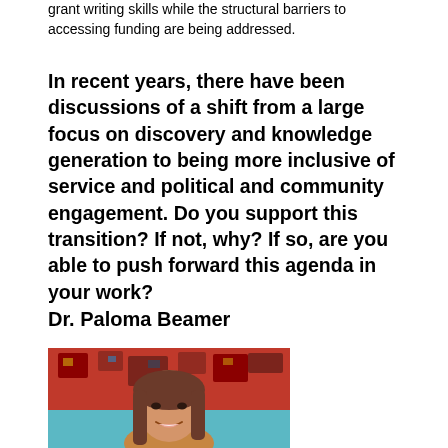grant writing skills while the structural barriers to accessing funding are being addressed.
In recent years, there have been discussions of a shift from a large focus on discovery and knowledge generation to being more inclusive of service and political and community engagement. Do you support this transition? If not, why? If so, are you able to push forward this agenda in your work?
Dr. Paloma Beamer
[Figure (photo): Headshot photo of Dr. Paloma Beamer, a woman with long brown hair, smiling, in front of a colorful tapestry background with a teal/blue lower wall]